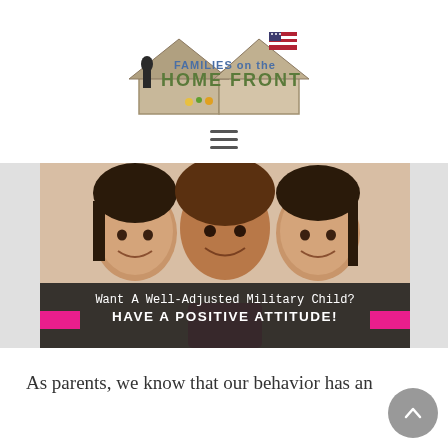[Figure (logo): Families on the Home Front logo with house silhouette and American flag]
[Figure (other): Hamburger/menu icon (three horizontal lines)]
[Figure (photo): Photo of a woman and two girls smiling, with overlay banner reading 'Want A Well-Adjusted Military Child? HAVE A POSITIVE ATTITUDE!']
As parents, we know that our behavior has an